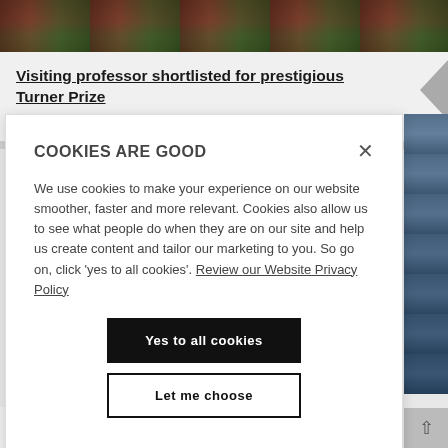[Figure (photo): Top banner image showing outdoor scene with people and foliage, red and green tones]
Visiting professor shortlisted for prestigious Turner Prize
23.08.22
[Figure (screenshot): Cookie consent modal overlay with title COOKIES ARE GOOD, body text, and two buttons: Yes to all cookies and Let me choose]
We use cookies to make your experience on our website smoother, faster and more relevant. Cookies also allow us to see what people do when they are on our site and help us create content and tailor our marketing to you. So go on, click 'yes to all cookies'. Review our Website Privacy Policy
Northumbria increases its support to at-risk